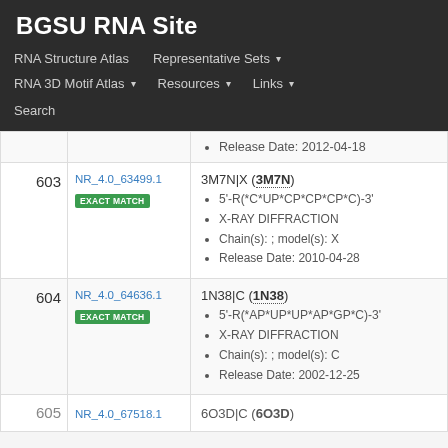BGSU RNA Site
RNA Structure Atlas | Representative Sets ▾ | RNA 3D Motif Atlas ▾ | Resources ▾ | Links ▾ | Search
| # | ID | Info |
| --- | --- | --- |
|  |  | Release Date: 2012-04-18 |
| 603 | NR_4.0_63499.1 EXACT MATCH | 3M7N|X (3M7N)
5'-R(*C*UP*CP*CP*CP*C)-3'
X-RAY DIFFRACTION
Chain(s): ; model(s): X
Release Date: 2010-04-28 |
| 604 | NR_4.0_64636.1 EXACT MATCH | 1N38|C (1N38)
5'-R(*AP*UP*UP*AP*GP*C)-3'
X-RAY DIFFRACTION
Chain(s): ; model(s): C
Release Date: 2002-12-25 |
| 605 | NR_4.0_67518.1 | 6O3D|C (6O3D) |